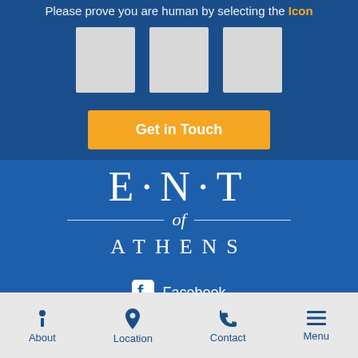Please prove you are human by selecting the Icon
[Figure (screenshot): Three empty grey CAPTCHA image boxes for human verification]
Get in Touch
[Figure (logo): ENT of Athens logo in white on blue background with horizontal divider lines and italic 'of' script]
Facebook
About | Location | Contact | Menu